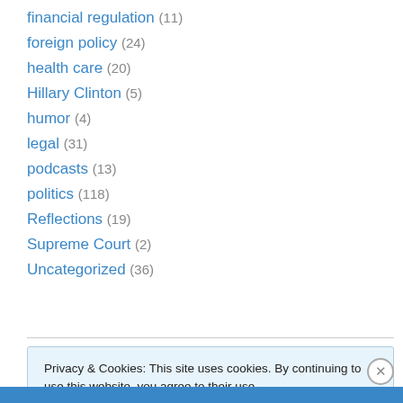financial regulation (11)
foreign policy (24)
health care (20)
Hillary Clinton (5)
humor (4)
legal (31)
podcasts (13)
politics (118)
Reflections (19)
Supreme Court (2)
Uncategorized (36)
Privacy & Cookies: This site uses cookies. By continuing to use this website, you agree to their use. To find out more, including how to control cookies, see here: Cookie Policy